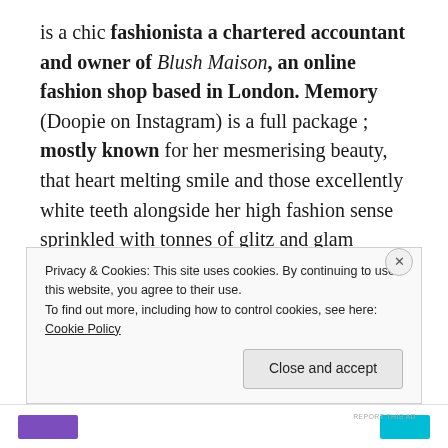is a chic fashionista a chartered accountant and owner of Blush Maison, an online fashion shop based in London. Memory (Doopie on Instagram) is a full package ; mostly known for her mesmerising beauty, that heart melting smile and those excellently white teeth alongside her high fashion sense sprinkled with tonnes of glitz and glam
REPORT THIS AD
Privacy & Cookies: This site uses cookies. By continuing to use this website, you agree to their use.
To find out more, including how to control cookies, see here: Cookie Policy
Close and accept